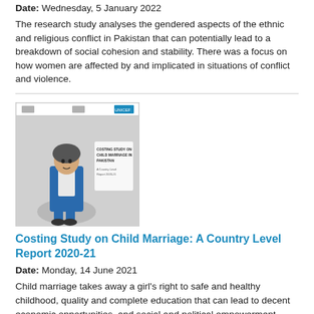Date: Wednesday, 5 January 2022
The research study analyses the gendered aspects of the ethnic and religious conflict in Pakistan that can potentially lead to a breakdown of social cohesion and stability. There was a focus on how women are affected by and implicated in situations of conflict and violence.
[Figure (illustration): Book cover of 'Costing Study on Child Marriage in Pakistan' showing an illustrated girl in blue clothing]
Costing Study on Child Marriage: A Country Level Report 2020-21
Date: Monday, 14 June 2021
Child marriage takes away a girl's right to safe and healthy childhood, quality and complete education that can lead to decent economic opportunities, and social and political empowerment. Pakistan has the 6th highest number of girls married before the age of 18 in the world. Child marriage is prevalent due to several reasons including deeply entrenched traditions and customs, poverty, lack of awareness and/or access to education, and lack of security.